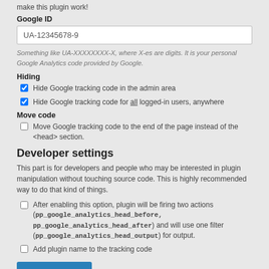make this plugin work!
Google ID
UA-12345678-9
Something like UA-XXXXXXXX-X, where X-es are digits. It is your personal Google Analytics code provided by Google.
Hiding
Hide Google tracking code in the admin area
Hide Google tracking code for all logged-in users, anywhere
Move code
Move Google tracking code to the end of the page instead of the <head> section.
Developer settings
This part is for developers and people who may be interested in plugin manipulation without touching source code. This is highly recommended way to do that kind of things.
After enabling this option, plugin will be firing two actions (pp_google_analytics_head_before, pp_google_analytics_head_after) and will use one filter (pp_google_analytics_head_output) for output.
Add plugin name to the tracking code
Save Changes
Google Analytics Head ©2011-2016 Łukasz Nowicki. You feel thankful? You may buy me a beer or coke if you wish :)